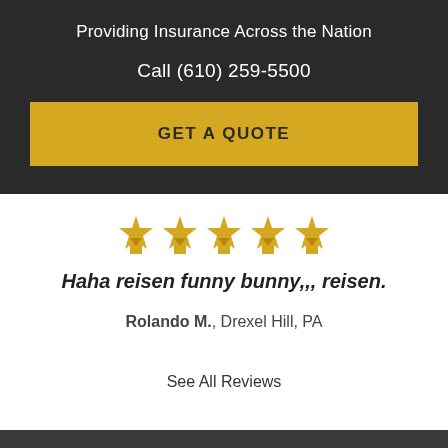Providing Insurance Across the Nation
Call (610) 259-5500
GET A QUOTE
[Figure (illustration): Five gold star/ribbon icons in a row representing a 5-star rating]
Haha reisen funny bunny,,, reisen.
Rolando M., Drexel Hill, PA
See All Reviews